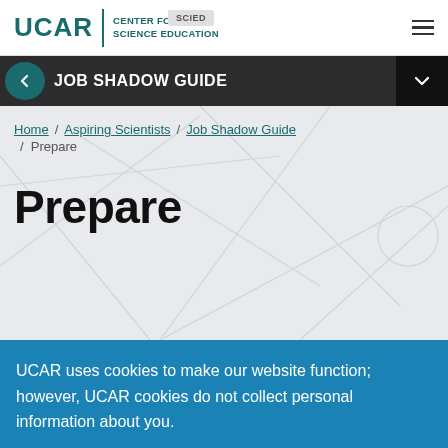UCAR | CENTER FOR SCIENCE EDUCATION  SCIED
JOB SHADOW GUIDE
Home / Aspiring Scientists / Job Shadow Guide / Prepare
Prepare
UCAR uses cookies to make our website function; however, UCAR cookies do not collect personal information about you.